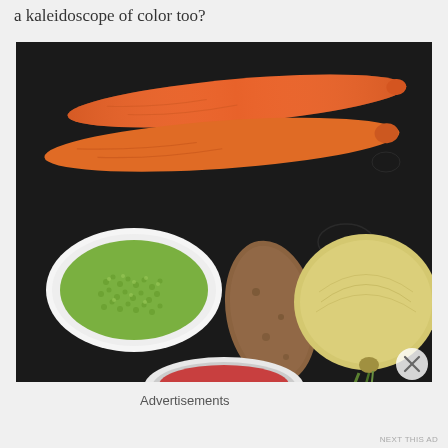a kaleidoscope of color too?
[Figure (photo): Flat lay of vegetables on a dark background: two orange carrots at top, a white bowl of green peas/sprouts on the lower left, a brown potato in the center, a yellow onion on the right, and a partial view of a bowl of red sauce at the bottom center.]
Advertisements